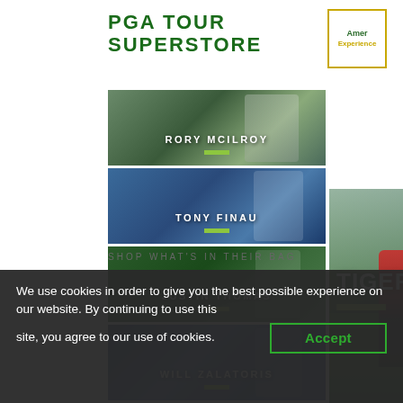PGA TOUR SUPERSTORE
[Figure (logo): Amer Experience logo badge — yellow-bordered square with text 'Amer Experience']
[Figure (photo): Rory McIlroy golf photo thumbnail with name label and green accent bar]
[Figure (photo): Tony Finau golf photo thumbnail with name label and green accent bar]
[Figure (photo): Justin Thomas golf photo thumbnail with name label and green accent bar]
[Figure (photo): Will Zalatoris golf photo thumbnail with name label and green accent bar]
[Figure (photo): Tiger Woods large golf action photo with 'TIGER WOODS' text overlay and green accent bar]
SHOP WHAT'S IN THEIR BAG
We use cookies in order to give you the best possible experience on our website. By continuing to use this site, you agree to our use of cookies.
Accept